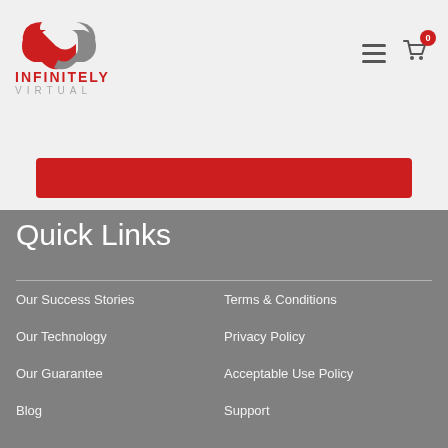[Figure (logo): Infinitely Virtual logo with red and grey chain-link icon and text]
[Figure (other): Hamburger menu icon and shopping cart icon with badge showing 0]
[Figure (other): Red bar/button partial UI element]
Quick Links
Our Success Stories
Terms & Conditions
Our Technology
Privacy Policy
Our Guarantee
Acceptable Use Policy
Blog
Support